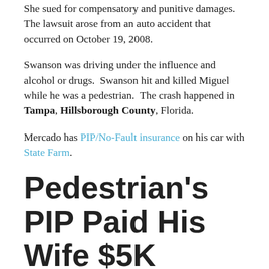She sued for compensatory and punitive damages.  The lawsuit arose from an auto accident that occurred on October 19, 2008.
Swanson was driving under the influence and alcohol or drugs.  Swanson hit and killed Miguel while he was a pedestrian.  The crash happened in Tampa, Hillsborough County, Florida.
Mercado has PIP/No-Fault insurance on his car with State Farm.
Pedestrian's PIP Paid His Wife $5K (State Farm Likely Quickly Paid $10K